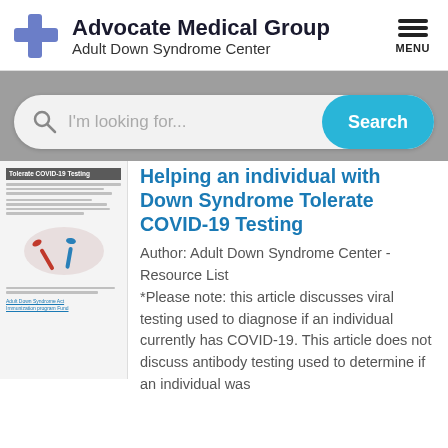Advocate Medical Group Adult Down Syndrome Center
[Figure (screenshot): Search bar with magnifying glass icon, placeholder text 'I'm looking for...', and a teal 'Search' button]
Helping an individual with Down Syndrome Tolerate COVID-19 Testing
Author: Adult Down Syndrome Center - Resource List *Please note: this article discusses viral testing used to diagnose if an individual currently has COVID-19. This article does not discuss antibody testing used to determine if an individual was
[Figure (screenshot): Thumbnail of a document/article about COVID-19 Testing with an image of nasal swabs]